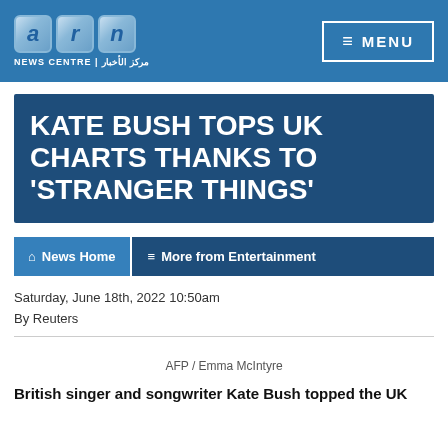ARN NEWS CENTRE | MENU
KATE BUSH TOPS UK CHARTS THANKS TO 'STRANGER THINGS'
News Home   More from Entertainment
Saturday, June 18th, 2022 10:50am
By Reuters
AFP / Emma McIntyre
British singer and songwriter Kate Bush topped the UK